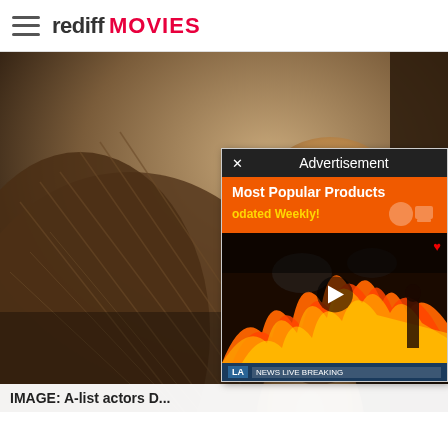rediff MOVIES
[Figure (photo): Close-up sepia-toned photo of a bearded man in profile, wearing a textured knit sweater or blanket, looking downward in a contemplative pose]
[Figure (screenshot): Advertisement overlay popup with header bar showing 'x Advertisement', orange bar with 'Most Popular Products' and 'odated Weekly!' text with product icons, and a video panel showing a fire/burning scene with play button, news channel bar at bottom]
IMAGE: A-list actors D...